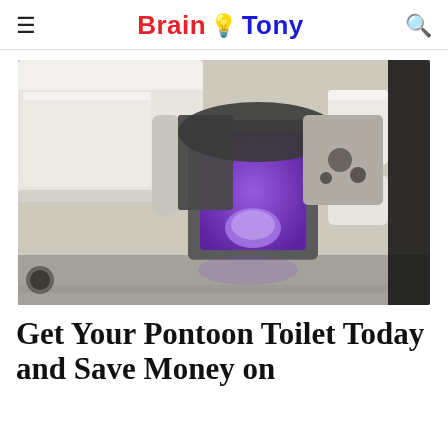Brain 💡 Tony
[Figure (photo): Aerial/overhead view of a pontoon boat deck interior showing white leather seating, gray carpeted floor, and an open compartment with purple UV lighting illuminating a compact toilet inside a privacy enclosure. A steering console with seats is visible on the right.]
Get Your Pontoon Toilet Today and Save Money on